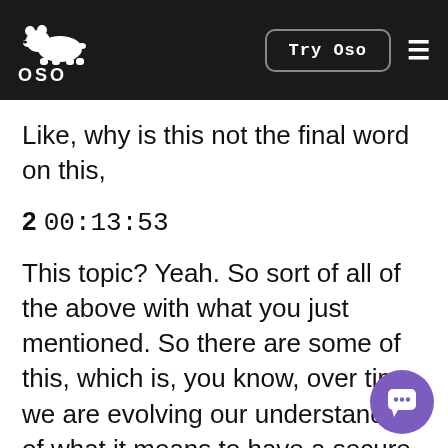OSO — Try Oso
Like, why is this not the final word on this,
2 00:13:53
This topic? Yeah. So sort of all of the above with what you just mentioned. So there are some of this, which is, you know, over time we are evolving our understanding of what it means to have a secure encryption between the two of us. And, you know, for example, one of